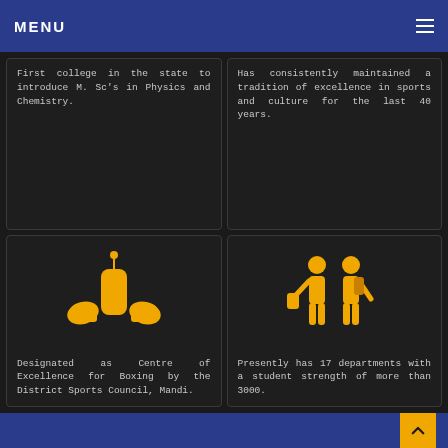MENU
First college in the state to introduce M. Sc's in Physics and Chemistry.
Has consistently maintained a tradition of excellence in sports and culture for the last 40 years.
[Figure (illustration): Golden icon of boxing gloves and punching bag]
Designated as Centre of Excellence for Boxing by the District Sports Council, Mandi.
[Figure (illustration): Golden icon of two student figures]
Presently has 17 departments with a student strength of more than 3000.